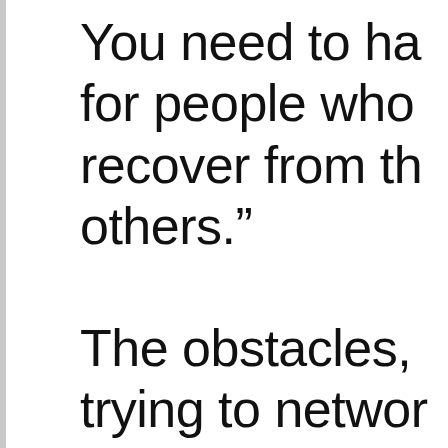You need to ha… for people who… recover from th… others.”
The obstacles, … trying to networ… Aspen — where… virtual) fair is s…